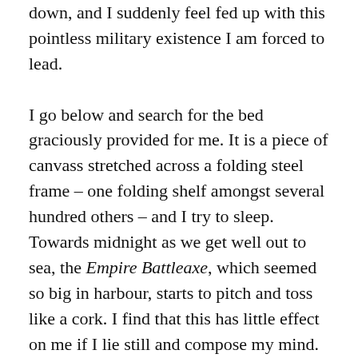down, and I suddenly feel fed up with this pointless military existence I am forced to lead.

I go below and search for the bed graciously provided for me. It is a piece of canvass stretched across a folding steel frame – one folding shelf amongst several hundred others – and I try to sleep. Towards midnight as we get well out to sea, the Empire Battleaxe, which seemed so big in harbour, starts to pitch and toss like a cork. I find that this has little effect on me if I lie still and compose my mind. But many of the lads get up, caught by the diabolical agonies of sea-sickness, stagger to the lavatory, and have a good vomit. Unhappily there are many who don't make it as far as the 'loo' and as the night wears on, anyone who